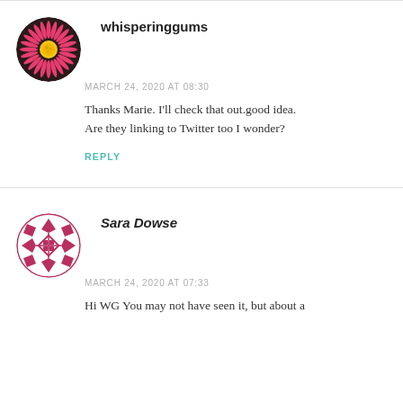[Figure (illustration): Circular avatar photo of a pink flower (gum blossom) with yellow center on dark background]
whisperinggums
MARCH 24, 2020 AT 08:30
Thanks Marie. I'll check that out.good idea. Are they linking to Twitter too I wonder?
REPLY
[Figure (illustration): Circular avatar of a geometric red/maroon diamond pattern on white background]
Sara Dowse
MARCH 24, 2020 AT 07:33
Hi WG You may not have seen it, but about a